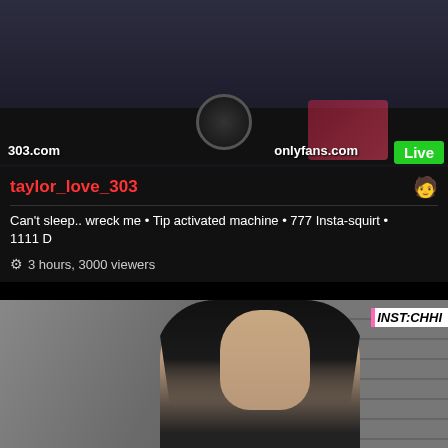[Figure (screenshot): Top portion: livestream screenshot of a dark room with blue LED lighting, a circular object on the floor. Overlay text shows '303.com' on left, 'onlyfans.com' and a green 'Live' badge on right.]
taylor_love_303
Can't sleep.. wreck me • Tip activated machine • 777 Insta-squirt • 1111 D
3 hours, 3000 viewers
[Figure (screenshot): Bottom portion: livestream screenshot of a young woman with long dark hair, wearing a black halter top, with a gray background. Watermark 'INST:CHHI' visible in top right corner.]